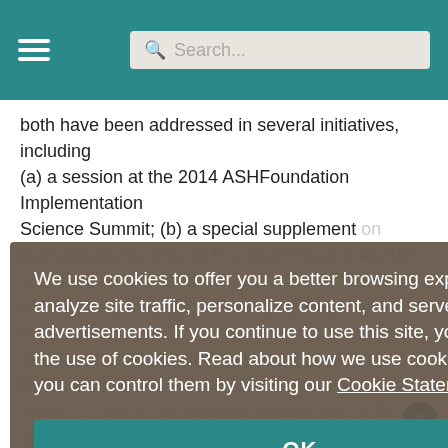Search...
both have been addressed in several initiatives, including (a) a session at the 2014 ASHFoundation Implementation Science Summit; (b) a special supplement on implementation science in a 2014 issue of ASHA's Journal of Speech, Language, and Hearing Research; (c) the main theme of the 2015 ASHA Schools Connect Pathway to Practice national conference on February 20th, 2015; and (d) a 2015 ASHA Leadership Development clinical focus article on Evidence-Based Practice and Sustainability. Thus, through the language and terminology of K-12 and SLP, any differences stemming from discipline and geographic locations, both fields focus on addressing the same
We use cookies to offer you a better browsing experience, analyze site traffic, personalize content, and serve targeted advertisements. If you continue to use this site, you consent to the use of cookies. Read about how we use cookies and how you can control them by visiting our Cookie Statement.
OK